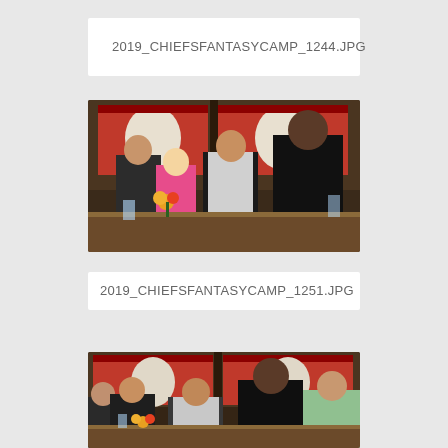2019_CHIEFSFANTASYCAMP_1244.JPG
[Figure (photo): Group of people socializing at an indoor event bar area with Kansas City Chiefs branding banners in the background. Several men and women stand around a bar counter with drinks and flowers.]
2019_CHIEFSFANTASYCAMP_1251.JPG
[Figure (photo): Similar group of people at the same indoor Chiefs event venue, slightly wider angle showing the same group from a different perspective, with Chiefs branded screens visible in background.]